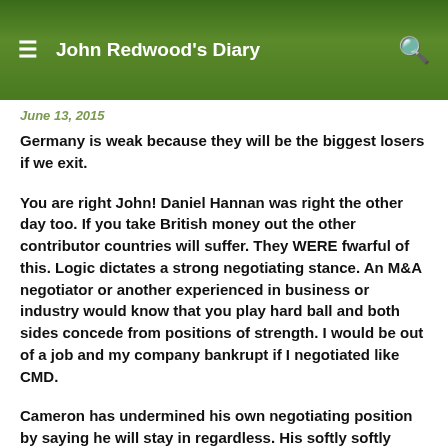John Redwood's Diary
June 13, 2015
Germany is weak because they will be the biggest losers if we exit.
You are right John! Daniel Hannan was right the other day too. If you take British money out the other contributor countries will suffer. They WERE fwarful of this. Logic dictates a strong negotiating stance. An M&A negotiator or another experienced in business or industry would know that you play hard ball and both sides concede from positions of strength. I would be out of a job and my company bankrupt if I negotiated like CMD.
Cameron has undermined his own negotiating position by saying he will stay in regardless. His softly softly approach is